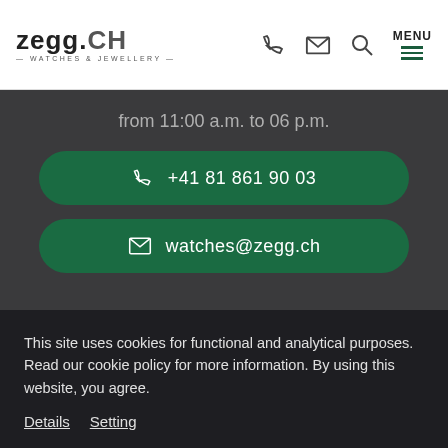ZEGG.CH — WATCHES & JEWELLERY
from 11:00 a.m. to 06 p.m.
+41 81 861 90 03
watches@zegg.ch
This site uses cookies for functional and analytical purposes. Read our cookie policy for more information. By using this website, you agree.
Details
Setting
Accept